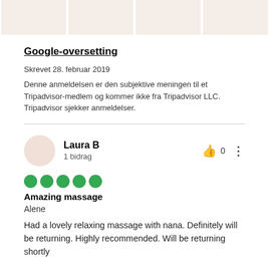[Figure (photo): Four placeholder image boxes in a row at top of page]
Google-oversetting
Skrevet 28. februar 2019
Denne anmeldelsen er den subjektive meningen til et Tripadvisor-medlem og kommer ikke fra Tripadvisor LLC. Tripadvisor sjekker anmeldelser.
Laura B
1 bidrag
[Figure (other): Five green circle rating dots (5/5 rating)]
Amazing massage
Alene
Had a lovely relaxing massage with nana. Definitely will be returning. Highly recommended. Will be returning shortly